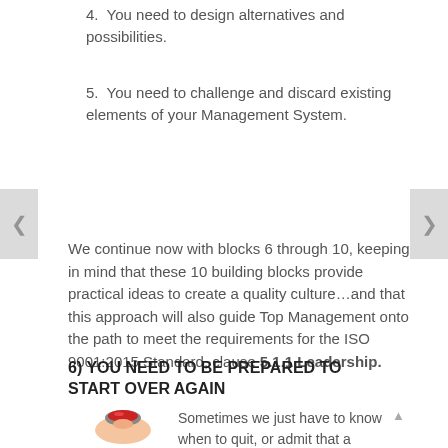4. You need to design alternatives and possibilities.
5. You need to challenge and discard existing elements of your Management System.
We continue now with blocks 6 through 10, keeping in mind that these 10 building blocks provide practical ideas to create a quality culture…and that this approach will also guide Top Management onto the path to meet the requirements for the ISO 9001:2015 Standard, clause 5.1.1 Leadership.
6) YOU NEED TO BE PREPARED TO START OVER AGAIN
[Figure (photo): A hand pressing a large red button]
Sometimes we just have to know when to quit, or admit that a 'modification' to an existing process is just not going to give us